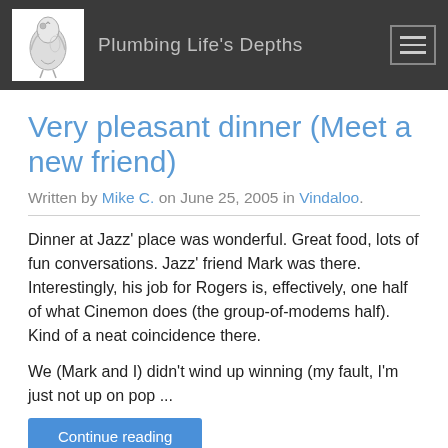Plumbing Life's Depths
Very pleasant dinner (Meet a new friend)
Written by Mike C. on June 25, 2005 in Vindaloo.
Dinner at Jazz' place was wonderful. Great food, lots of fun conversations. Jazz' friend Mark was there. Interestingly, his job for Rogers is, effectively, one half of what Cinemon does (the group-of-modems half). Kind of a neat coincidence there.

We (Mark and I) didn't wind up winning (my fault, I'm just not up on pop ...